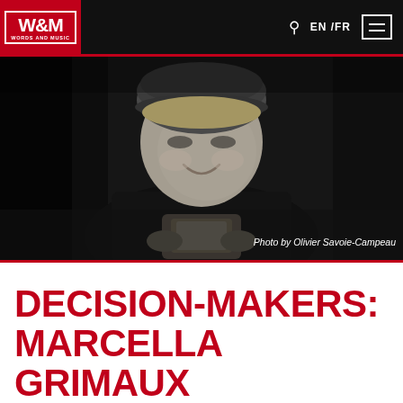W&M WORDS AND MUSIC | EN /FR
[Figure (photo): Black and white photo of a person (Marcella Grimaux) smiling and looking down, wearing a dark t-shirt and beanie hat, holding a phone or book. Background is dark and blurred.]
Photo by Olivier Savoie-Campeau
DECISION-MAKERS: MARCELLA GRIMAUX